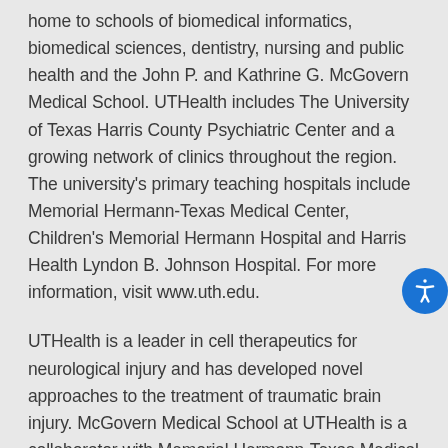home to schools of biomedical informatics, biomedical sciences, dentistry, nursing and public health and the John P. and Kathrine G. McGovern Medical School. UTHealth includes The University of Texas Harris County Psychiatric Center and a growing network of clinics throughout the region. The university's primary teaching hospitals include Memorial Hermann-Texas Medical Center, Children's Memorial Hermann Hospital and Harris Health Lyndon B. Johnson Hospital. For more information, visit www.uth.edu.

UTHealth is a leader in cell therapeutics for neurological injury and has developed novel approaches to the treatment of traumatic brain injury. McGovern Medical School at UTHealth is a collaborator with Memorial Hermann-Texas Medical Center in the Memorial Hermann Red Duke Trauma Institute and Memorial Hermann Mind